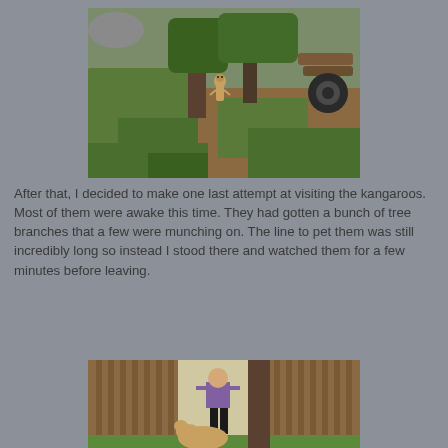[Figure (photo): Outdoor zoo enclosure with green grass, trees, dirt ground, a tire, logs, and a small animal (meerkat) standing upright in the center of the scene.]
After that, I decided to make one last attempt at visiting the kangaroos.  Most of them were awake this time.  They had gotten a bunch of tree branches that a few were munching on.  The line to pet them was still incredibly long so instead I stood there and watched them for a few minutes before leaving.
[Figure (photo): Partial view of a zoo kangaroo enclosure with wooden fence slats, a person standing, a tree trunk, and a kangaroo visible at the bottom.]